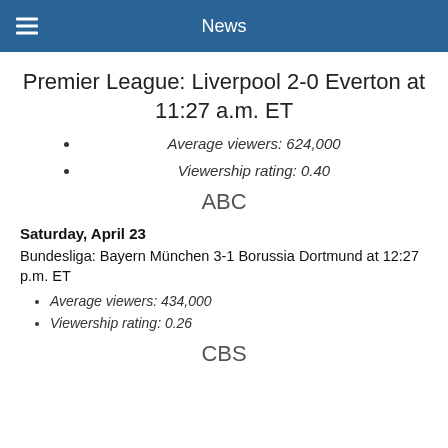News
Premier League: Liverpool 2-0 Everton at 11:27 a.m. ET
Average viewers: 624,000
Viewership rating: 0.40
ABC
Saturday, April 23
Bundesliga: Bayern München 3-1 Borussia Dortmund at 12:27 p.m. ET
Average viewers: 434,000
Viewership rating: 0.26
CBS